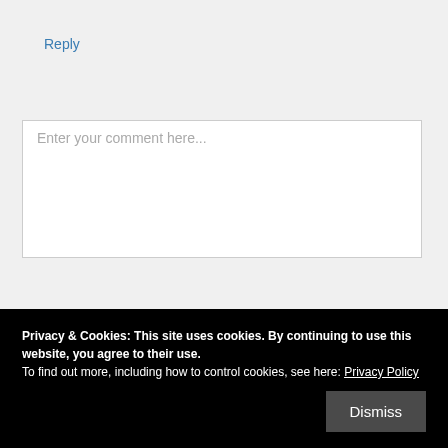Reply
Leave a comment...
Enter your comment here...
Privacy & Cookies: This site uses cookies. By continuing to use this website, you agree to their use.
To find out more, including how to control cookies, see here: Privacy Policy
Dismiss